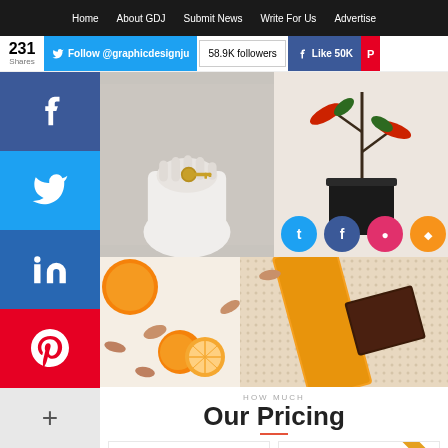Home | About GDJ | Submit News | Write For Us | Advertise
Follow @graphicdesignju | 58.9K followers | Like 50K | 231 Shares
[Figure (photo): Left: hand holding keys on white background. Right: red chili flowers with social media icons (Twitter, Facebook, Instagram, RSS) below.]
[Figure (photo): Orange Marzipan chocolate bar product photography with oranges and almonds scattered on white surface with patterned cloth.]
HOW MUCH
Our Pricing
STARTER $179
BASIC $229